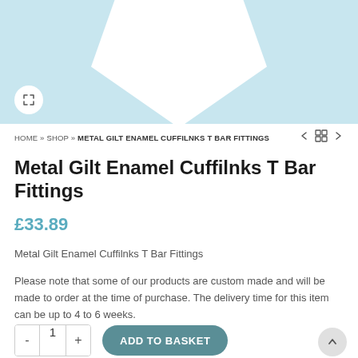[Figure (photo): Product image area with light blue background and white pentagon/house shape in the center, with an expand icon button in the bottom left corner]
HOME » SHOP » METAL GILT ENAMEL CUFFILNKS T BAR FITTINGS
Metal Gilt Enamel Cuffilnks T Bar Fittings
£33.89
Metal Gilt Enamel Cuffilnks T Bar Fittings
Please note that some of our products are custom made and will be made to order at the time of purchase. The delivery time for this item can be up to 4 to 6 weeks.